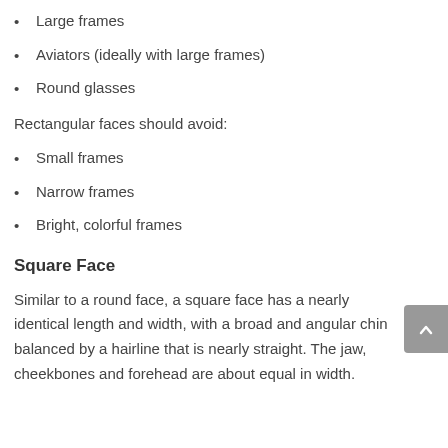Large frames
Aviators (ideally with large frames)
Round glasses
Rectangular faces should avoid:
Small frames
Narrow frames
Bright, colorful frames
Square Face
Similar to a round face, a square face has a nearly identical length and width, with a broad and angular chin balanced by a hairline that is nearly straight. The jaw, cheekbones and forehead are about equal in width.